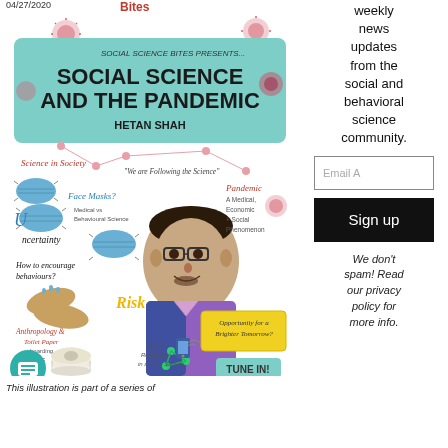04/27/2020
Bites
[Figure (illustration): Illustrated poster titled 'Social Science and the Pandemic' by Hetan Shah, featuring a portrait of Hetan Shah surrounded by hand-drawn text and illustrations related to pandemic topics: Science in Society, Face Masks?, Medical vs Behavioural Science, Uncertainty, How to encourage behaviours?, Risk, Anthropology & Toilet Paper hoarding, Digital Response in a 2 tier Society, Pandemic: A Medical, Economic & Social Phenomenon, 'We are Following the Science', Opportunity for a Brighter Tomorrow?, TUNE IN!. Includes virus and mask illustrations on teal background.]
This illustration is part of a series of
weekly news updates from the social and behavioral science community.
Email A
Sign up
We don't spam! Read our privacy policy for more info.